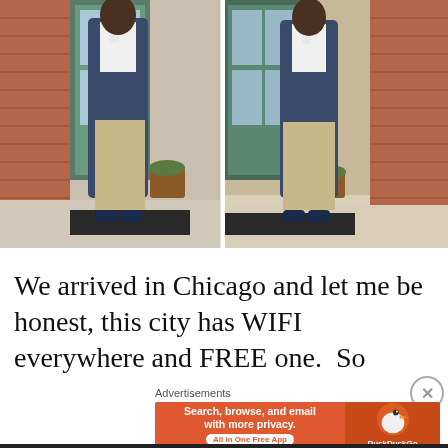[Figure (photo): Two side-by-side photos of a man wearing a navy blazer, white v-neck shirt, khaki pants, and navy loafers, standing in front of a red brick building with a door and potted plant. Left photo is a wider shot showing more of the surroundings; right photo is a closer full-body shot.]
We arrived in Chicago and let me be honest, this city has WIFI everywhere and FREE one. So
[Figure (other): DuckDuckGo advertisement banner: orange background with text 'Search, browse, and email with more privacy. All in One Free App' and DuckDuckGo duck logo on the right side.]